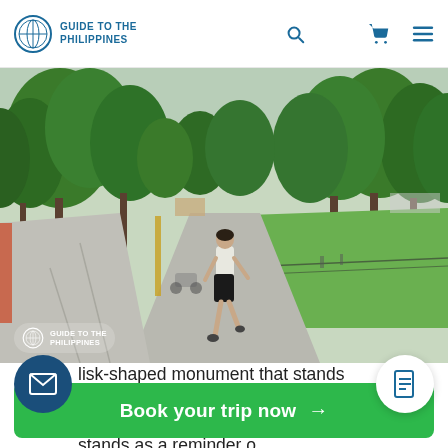GUIDE TO THE PHILIPPINES
[Figure (photo): A person jogging along a wide concrete path in a park with large green trees on both sides and a green lawn to the right. Watermark reads 'GUIDE TO THE PHILIPPINES' in bottom left.]
lisk-shaped monument that stands right in the middle of a busy roundabout that stands as a reminder of
Book your trip now →